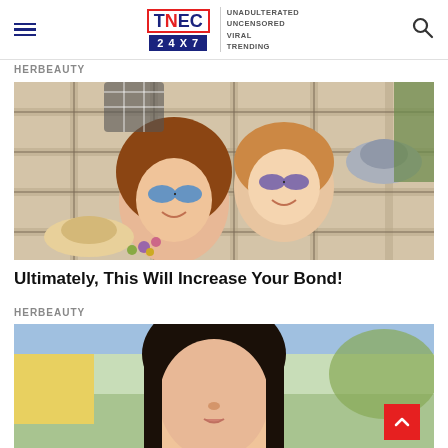TNEC 24X7 | UNADULTERATED UNCENSORED VIRAL TRENDING
HERBEAUTY
[Figure (photo): A couple lying on a picnic blanket looking up, smiling, wearing sunglasses, with hats and flowers nearby]
Ultimately, This Will Increase Your Bond!
HERBEAUTY
[Figure (photo): Partial photo of a woman with dark hair outdoors, partially cut off at bottom of page]